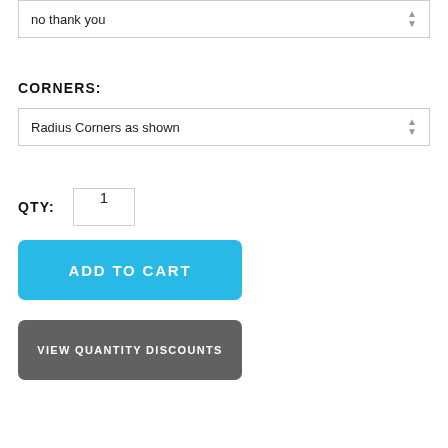no thank you
CORNERS:
Radius Corners as shown
QTY: 1
ADD TO CART
VIEW QUANTITY DISCOUNTS